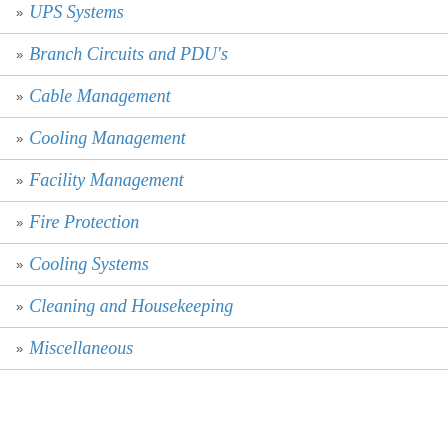» UPS Systems
» Branch Circuits and PDU's
» Cable Management
» Cooling Management
» Facility Management
» Fire Protection
» Cooling Systems
» Cleaning and Housekeeping
» Miscellaneous